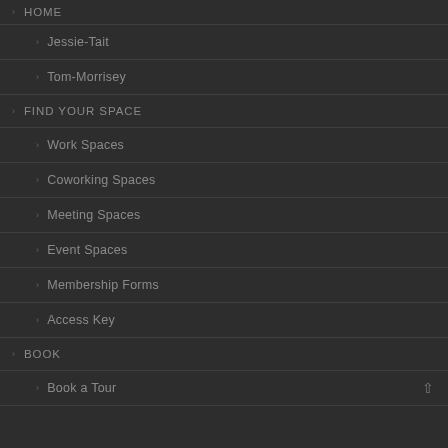> HOME
> Jessie-Tait
> Tom-Morrisey
> FIND YOUR SPACE
> Work Spaces
> Coworking Spaces
> Meeting Spaces
> Event Spaces
> Membership Forms
> Access Key
> BOOK
> Book a Tour